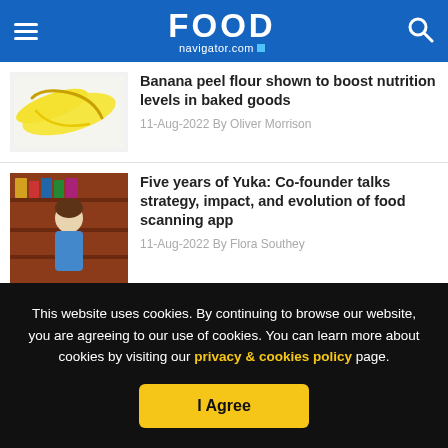FOOD navigator.com
[Figure (photo): Bananas on white background]
Banana peel flour shown to boost nutrition levels in baked goods
11-Aug-2022 By Oliver Morrison
[Figure (photo): Woman scanning products in a supermarket aisle]
Five years of Yuka: Co-founder talks strategy, impact, and evolution of food scanning app
11-Aug-2022 By Flora Southey
[Figure (photo): Partial food image]
Personalised treatment aims to
This website uses cookies. By continuing to browse our website, you are agreeing to our use of cookies. You can learn more about cookies by visiting our privacy & cookies policy page.
I Agree